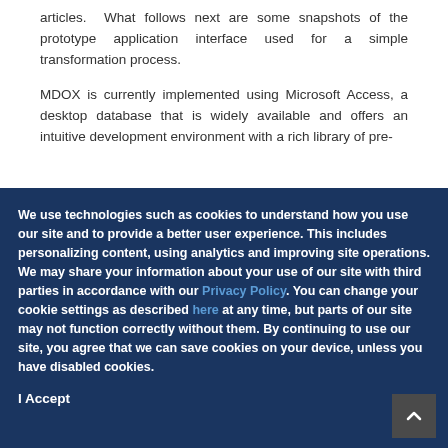articles. What follows next are some snapshots of the prototype application interface used for a simple transformation process.
MDOX is currently implemented using Microsoft Access, a desktop database that is widely available and offers an intuitive development environment with a rich library of pre-
We use technologies such as cookies to understand how you use our site and to provide a better user experience. This includes personalizing content, using analytics and improving site operations. We may share your information about your use of our site with third parties in accordance with our Privacy Policy. You can change your cookie settings as described here at any time, but parts of our site may not function correctly without them. By continuing to use our site, you agree that we can save cookies on your device, unless you have disabled cookies.
I Accept